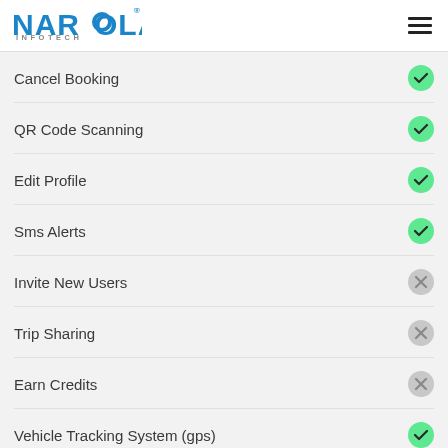NAROLA INFOTECH
Cancel Booking
QR Code Scanning
Edit Profile
Sms Alerts
Invite New Users
Trip Sharing
Earn Credits
Vehicle Tracking System (gps)
Flexible Payment Options
Automatic Fare Calculation